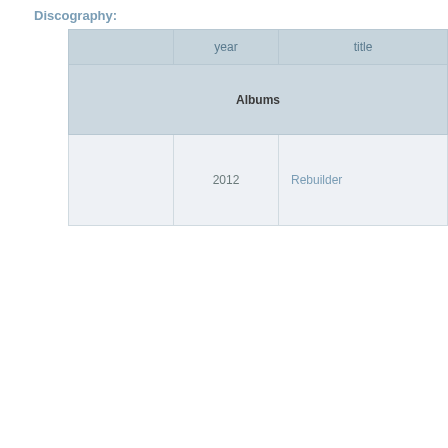Discography:
|  | year | title |
| --- | --- | --- |
| Albums |  |  |
|  | 2012 | Rebuilder |